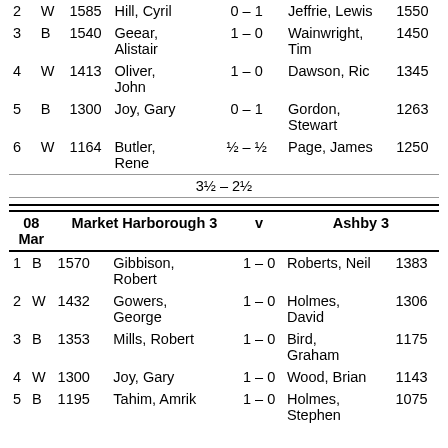| # | Color | Rating | Player | Score | Opponent | Opp Rating |
| --- | --- | --- | --- | --- | --- | --- |
| 2 | W | 1585 | Hill, Cyril | 0 – 1 | Jeffrie, Lewis | 1550 |
| 3 | B | 1540 | Geear, Alistair | 1 – 0 | Wainwright, Tim | 1450 |
| 4 | W | 1413 | Oliver, John | 1 – 0 | Dawson, Ric | 1345 |
| 5 | B | 1300 | Joy, Gary | 0 – 1 | Gordon, Stewart | 1263 |
| 6 | W | 1164 | Butler, Rene | ½ – ½ | Page, James | 1250 |
|  |  |  | 3½ – 2½ |  |  |  |
| 08 Mar |  | Market Harborough 3 | v | Ashby 3 |  |  |
| --- | --- | --- | --- | --- | --- | --- |
| 1 | B | 1570 | Gibbison, Robert | 1 – 0 | Roberts, Neil | 1383 |
| 2 | W | 1432 | Gowers, George | 1 – 0 | Holmes, David | 1306 |
| 3 | B | 1353 | Mills, Robert | 1 – 0 | Bird, Graham | 1175 |
| 4 | W | 1300 | Joy, Gary | 1 – 0 | Wood, Brian | 1143 |
| 5 | B | 1195 | Tahim, Amrik | 1 – 0 | Holmes, Stephen | 1075 |